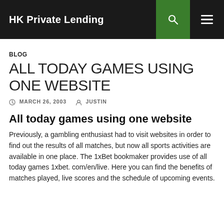HK Private Lending
BLOG
ALL TODAY GAMES USING ONE WEBSITE
MARCH 26, 2003   JUSTIN
All today games using one website
Previously, a gambling enthusiast had to visit websites in order to find out the results of all matches, but now all sports activities are available in one place. The 1xBet bookmaker provides use of all today games 1xbet. com/en/live. Here you can find the benefits of matches played, live scores and the schedule of upcoming events.